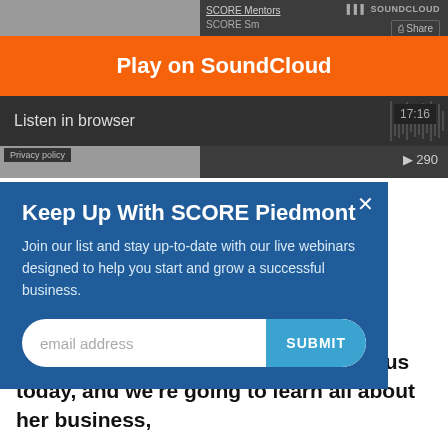[Figure (screenshot): SoundCloud embedded audio player for SCORE Mentors podcast, showing handwritten '4us' logo, orange Play on SoundCloud banner, waveform with Listen in browser label, 17:16 duration, and play count 290]
Play on SoundCloud
Listen in browser
Privacy policy
290
Keep Up With SCORE Piedmont
Join our list and stay up-to-date with our live webinars designed to help you start and grow a successful business.
email address
SUBMIT
I have an amazing entrepreneur with us today, and we're going to learn all about her business,